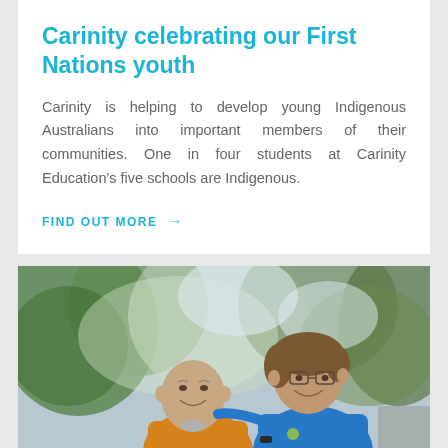Carinity celebrating our First Nations youth
Carinity is helping to develop young Indigenous Australians into important members of their communities. One in four students at Carinity Education's five schools are Indigenous.
FIND OUT MORE →
[Figure (photo): Two people posing outdoors with blurred green trees in background. An elderly man in an orange/yellow shirt on the left, and a woman in a blue polo shirt with glasses on the right, smiling at the camera.]